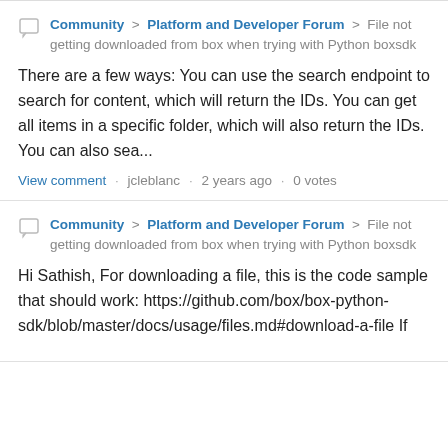Community > Platform and Developer Forum > File not getting downloaded from box when trying with Python boxsdk
There are a few ways: You can use the search endpoint to search for content, which will return the IDs. You can get all items in a specific folder, which will also return the IDs. You can also sea...
View comment · jcleblanc · 2 years ago · 0 votes
Community > Platform and Developer Forum > File not getting downloaded from box when trying with Python boxsdk
Hi Sathish, For downloading a file, this is the code sample that should work: https://github.com/box/box-python-sdk/blob/master/docs/usage/files.md#download-a-file If